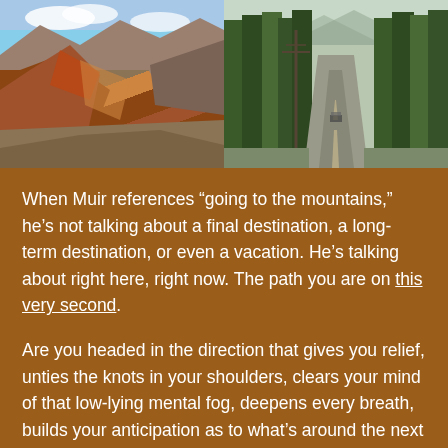[Figure (photo): Two side-by-side landscape photos. Left: arid desert mountain scene with red and brown rocky hills under a blue sky. Right: a straight road lined with tall green conifer trees leading toward distant mountains.]
When Muir references “going to the mountains,” he’s not talking about a final destination, a long-term destination, or even a vacation. He’s talking about right here, right now. The path you are on this very second.
Are you headed in the direction that gives you relief, unties the knots in your shoulders, clears your mind of that low-lying mental fog, deepens every breath, builds your anticipation as to what’s around the next corner, and brings you exhilarating joy?